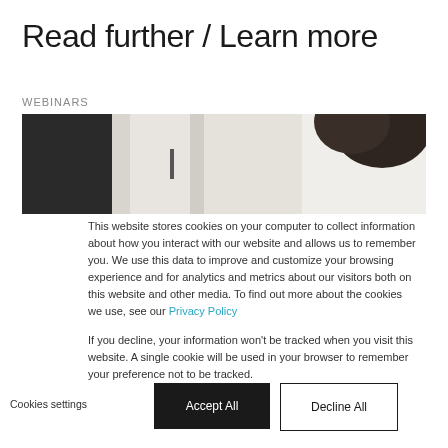Read further / Learn more
WEBINARS
[Figure (photo): A photograph showing the back/side of a person's head with dark curly hair, in front of a dark doorway or cabinet. The image is wide and short (banner format).]
This website stores cookies on your computer to collect information about how you interact with our website and allows us to remember you. We use this data to improve and customize your browsing experience and for analytics and metrics about our visitors both on this website and other media. To find out more about the cookies we use, see our Privacy Policy
If you decline, your information won't be tracked when you visit this website. A single cookie will be used in your browser to remember your preference not to be tracked.
Cookies settings
Accept All
Decline All